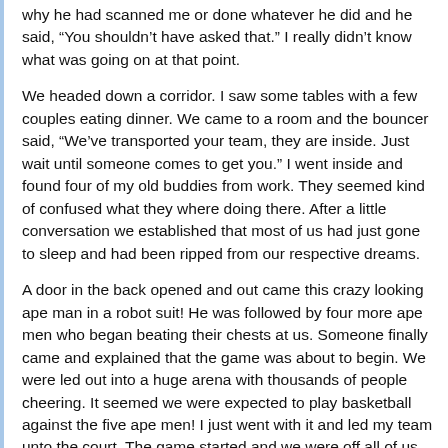why he had scanned me or done whatever he did and he said, “You shouldn’t have asked that.” I really didn’t know what was going on at that point.
We headed down a corridor. I saw some tables with a few couples eating dinner. We came to a room and the bouncer said, “We’ve transported your team, they are inside. Just wait until someone comes to get you.” I went inside and found four of my old buddies from work. They seemed kind of confused what they where doing there. After a little conversation we established that most of us had just gone to sleep and had been ripped from our respective dreams.
A door in the back opened and out came this crazy looking ape man in a robot suit! He was followed by four more ape men who began beating their chests at us. Someone finally came and explained that the game was about to begin. We were led out into a huge arena with thousands of people cheering. It seemed we were expected to play basketball against the five ape men! I just went with it and led my team unto the court. The game started and we were off all of us getting into the spirit of the game.
The ape men were really good basketball players and embarrassed our team to the laughter of the